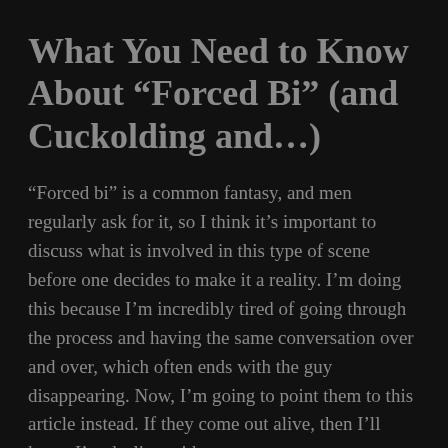What You Need to Know About “Forced Bi” (and Cuckolding and…)
“Forced bi” is a common fantasy, and men regularly ask for it, so I think it’s important to discuss what is involved in this type of scene before one decides to make it a reality. I’m doing this because I’m incredibly tired of going through the process and having the same conversation over and over, which often ends with the guy disappearing. Now, I’m going to point them to this article instead. If they come out alive, then I’ll know I’m dealing with